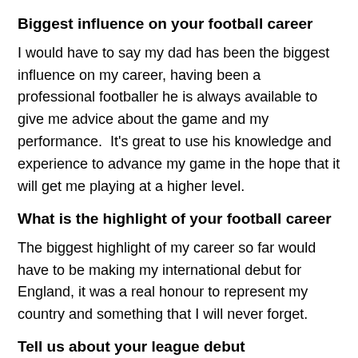Biggest influence on your football career
I would have to say my dad has been the biggest influence on my career, having been a professional footballer he is always available to give me advice about the game and my performance.  It's great to use his knowledge and experience to advance my game in the hope that it will get me playing at a higher level.
What is the highlight of your football career
The biggest highlight of my career so far would have to be making my international debut for England, it was a real honour to represent my country and something that I will never forget.
Tell us about your league debut
I made my debut for the big one against Alt in a.